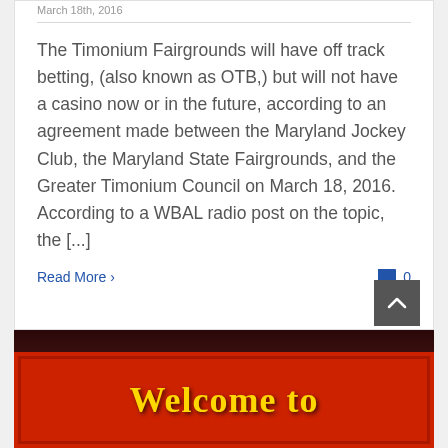March 18th, 2016
The Timonium Fairgrounds will have off track betting, (also known as OTB,) but will not have a casino now or in the future, according to an agreement made between the Maryland Jockey Club, the Maryland State Fairgrounds, and the Greater Timonium Council on March 18, 2016. According to a WBAL radio post on the topic, the [...]
Read More
0
[Figure (photo): Red banner sign reading 'Welcome to' in yellow text, partially visible at the bottom of the page]